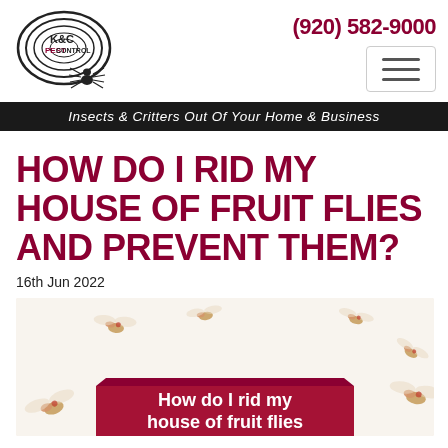[Figure (logo): K&C Pest Control logo with spiral design and spider]
(920) 582-9000
[Figure (other): Hamburger menu button]
Insects & Critters Out Of Your Home & Business
HOW DO I RID MY HOUSE OF FRUIT FLIES AND PREVENT THEM?
16th Jun 2022
[Figure (photo): Fruit flies on white background with dark red banner overlay reading 'How do I rid my house of fruit flies']